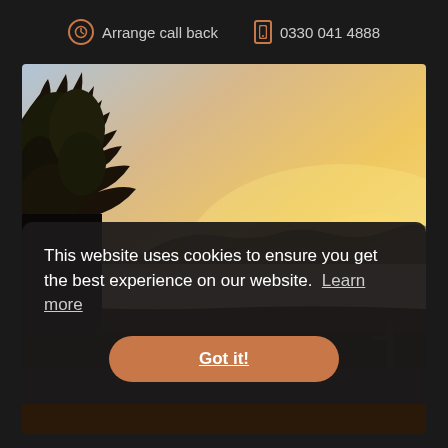Arrange call back  0330 041 4888
[Figure (photo): Landscape photo of a misty sunrise or sunset scene with silhouetted trees on the left and fog-covered hills in the background with warm orange and golden sky]
This website uses cookies to ensure you get the best experience on our website.  Learn more
Got it!